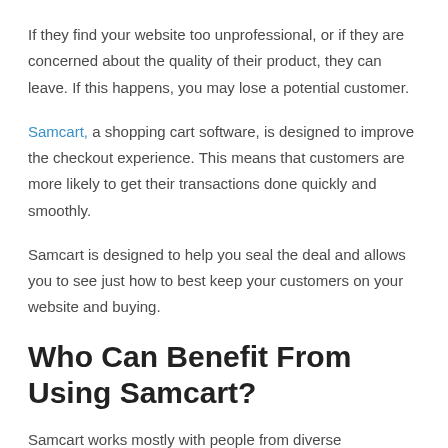If they find your website too unprofessional, or if they are concerned about the quality of their product, they can leave. If this happens, you may lose a potential customer.
Samcart, a shopping cart software, is designed to improve the checkout experience. This means that customers are more likely to get their transactions done quickly and smoothly.
Samcart is designed to help you seal the deal and allows you to see just how to best keep your customers on your website and buying.
Who Can Benefit From Using Samcart?
Samcart works mostly with people from diverse backgrounds, who aren't fully immersed in online retail.